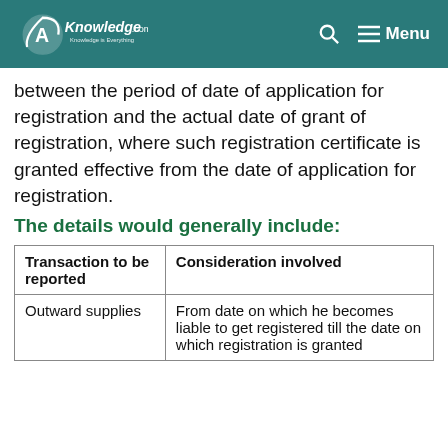AKnowledge.com — Menu
between the period of date of application for registration and the actual date of grant of registration, where such registration certificate is granted effective from the date of application for registration.
The details would generally include:
| Transaction to be reported | Consideration involved |
| --- | --- |
| Outward supplies | From date on which he becomes liable to get registered till the date on which registration is granted |